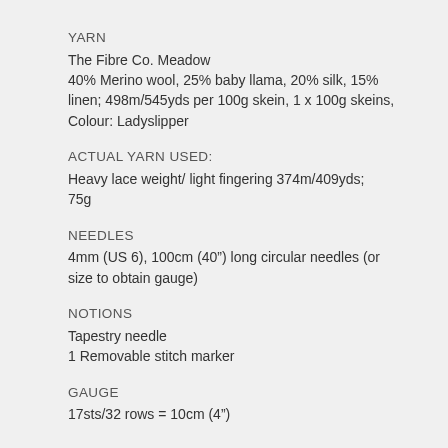YARN
The Fibre Co. Meadow
40% Merino wool, 25% baby llama, 20% silk, 15% linen; 498m/545yds per 100g skein, 1 x 100g skeins, Colour: Ladyslipper
ACTUAL YARN USED:
Heavy lace weight/ light fingering 374m/409yds; 75g
NEEDLES
4mm (US 6), 100cm (40”) long circular needles (or size to obtain gauge)
NOTIONS
Tapestry needle
1 Removable stitch marker
GAUGE
17sts/32 rows = 10cm (4”)